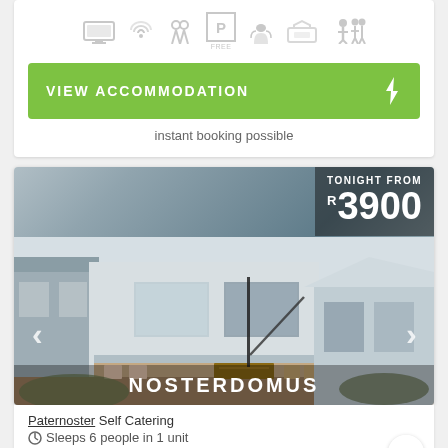[Figure (infographic): Row of amenity icons: TV/screen, WiFi, people/guest, Parking (FREE), pets, pool/amenity, family icon — all in light grey]
VIEW ACCOMMODATION (button with lightning bolt icon)
instant booking possible
[Figure (photo): Listing card for NOSTERDOMUS showing a modern white self-catering house exterior with deck and outdoor furniture. Overlay shows 'TONIGHT FROM R 3900'. Navigation arrows on sides.]
Paternoster Self Catering
Sleeps 6 people in 1 unit